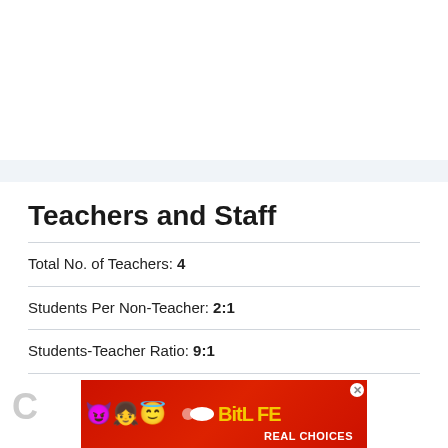Teachers and Staff
Total No. of Teachers: 4
Students Per Non-Teacher: 2:1
Students-Teacher Ratio: 9:1
[Figure (photo): Advertisement banner for BitLife game app with emojis on red background with text REAL CHOICES]